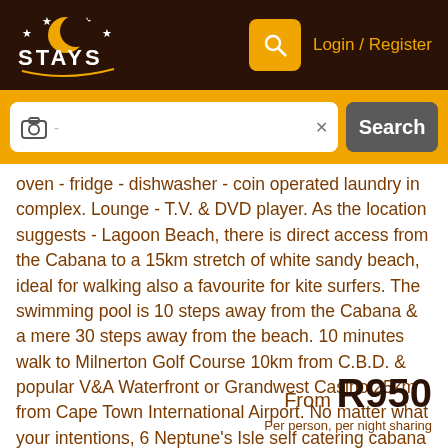STAYS - Login / Register
oven - fridge - dishwasher - coin operated laundry in complex. Lounge - T.V. & DVD player. As the location suggests - Lagoon Beach, there is direct access from the Cabana to a 15km stretch of white sandy beach, ideal for walking also a favourite for kite surfers. The swimming pool is 10 steps away from the Cabana & a mere 30 steps away from the beach. 10 minutes walk to Milnerton Golf Course 10km from C.B.D. & popular V&A Waterfront or Grandwest Casino 25km from Cape Town International Airport. No matter what your intentions, 6 Neptune's Isle self catering cabana accommodation is perfectly positioned in lagoon Beach to enjoy Milnerton and the many things that Cape Town has to offer.
From R950 Per person, per night sharing